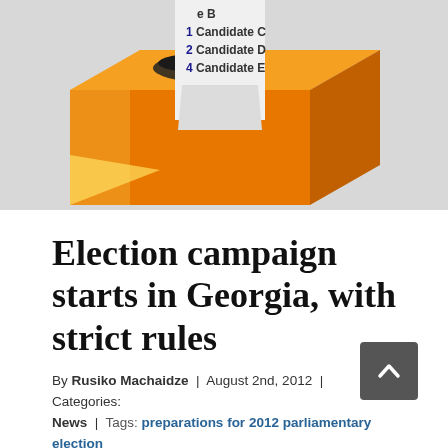[Figure (illustration): An orange ballot box with a ballot paper being inserted. The ballot paper shows numbered candidates: Candidate B, Candidate C, Candidate D, Candidate E.]
Election campaign starts in Georgia, with strict rules
By Rusiko Machaidze | August 2nd, 2012 | Categories: News | Tags: preparations for 2012 parliamentary election
TBILISI, DFWatch – Georgia will hold